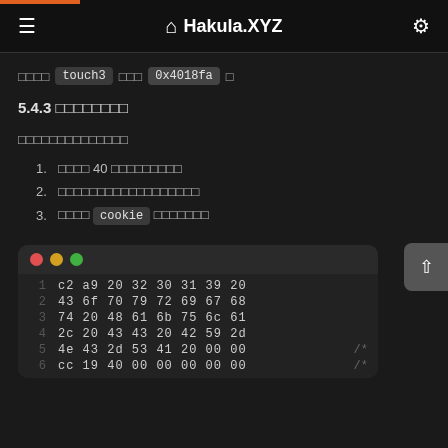Hakula.XYZ
□□□□ touch3 □□□ 0x4018fa □
5.4.3 □□□□□□□□
□□□□□□□□□□□□□□
1. □□□□ 40 □□□□□□□□□
2. □□□□□□□□□□□□□□□□□□
3. □□□□ cookie □□□□□□□
[Figure (screenshot): Terminal/code window showing hex values across 6 lines with line numbers 1-6]